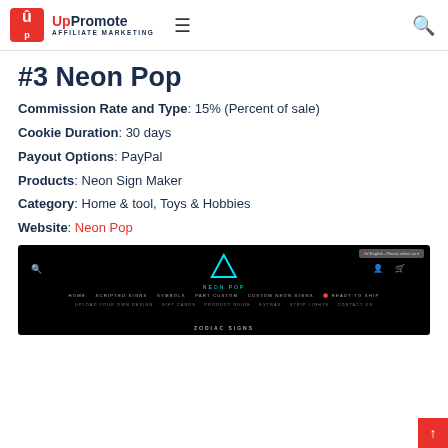UpPromote AFFILIATE MARKETING
#3 Neon Pop
Commission Rate and Type: 15% (Percent of sale)
Cookie Duration: 30 days
Payout Options: PayPal
Products: Neon Sign Maker
Category: Home & tool, Toys & Hobbies
Website: Neon Pop
[Figure (screenshot): Screenshot of the Neon Pop website showing a dark/black navigation bar with a neon triangle logo, navigation links including HOME, SCRIPTED SIGNS, SYMBOLS, PART CUSTOM, CUSTOM NEON SIGNS, READY TO SHIP, UPLOAD YOUR OWN DESIGN, GIFT CARDS, PRODUCT GUIDE, EXTRAS, STRIP LIGHTS, CONTACT US, and ZODIAC SIGNS at the bottom.]